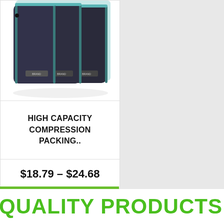[Figure (photo): Three dark navy/grey compression packing cubes with teal zipper trim, stacked/overlapping, shown from the front on a white background]
HIGH CAPACITY COMPRESSION PACKING..
$18.79 – $24.68
VIEW DETAILS
QUALITY PRODUCTS FOR YOUR